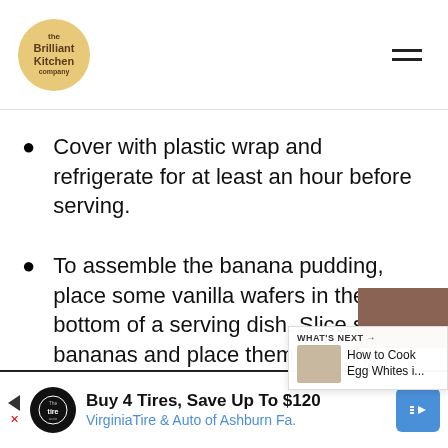Brilliant Kitchen
Cover with plastic wrap and refrigerate for at least an hour before serving.
To assemble the banana pudding, place some vanilla wafers in the bottom of a serving dish. Slice some bananas and place them over the vanilla wafers.
Pour the pudding mixture over the top, and refrigerate for another hour before
Buy 4 Tires, Save Up To $120 VirginiaTire & Auto of Ashburn Fa.